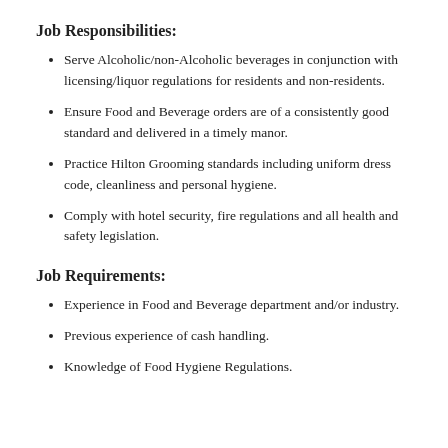Job Responsibilities:
Serve Alcoholic/non-Alcoholic beverages in conjunction with licensing/liquor regulations for residents and non-residents.
Ensure Food and Beverage orders are of a consistently good standard and delivered in a timely manor.
Practice Hilton Grooming standards including uniform dress code, cleanliness and personal hygiene.
Comply with hotel security, fire regulations and all health and safety legislation.
Job Requirements:
Experience in Food and Beverage department and/or industry.
Previous experience of cash handling.
Knowledge of Food Hygiene Regulations.